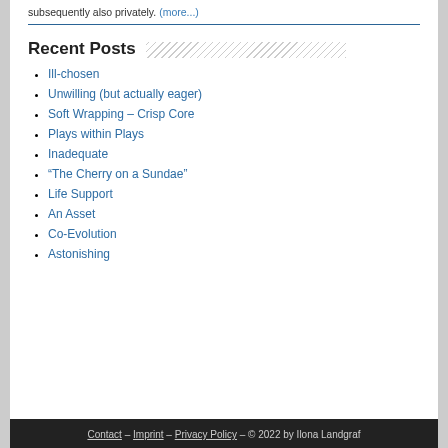subsequently also privately. (more...)
Recent Posts
Ill-chosen
Unwilling (but actually eager)
Soft Wrapping – Crisp Core
Plays within Plays
Inadequate
“The Cherry on a Sundae”
Life Support
An Asset
Co-Evolution
Astonishing
Contact – Imprint – Privacy Policy – © 2022 by Ilona Landgraf